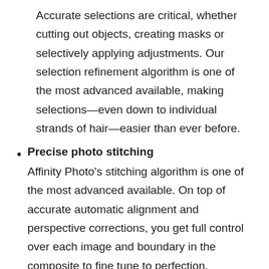Accurate selections are critical, whether cutting out objects, creating masks or selectively applying adjustments. Our selection refinement algorithm is one of the most advanced available, making selections—even down to individual strands of hair—easier than ever before.
Precise photo stitching
Affinity Photo's stitching algorithm is one of the most advanced available. On top of accurate automatic alignment and perspective corrections, you get full control over each image and boundary in the composite to fine tune to perfection.
Extensive retouching tools
Whether you want to make quick corrections, or spend an hour on a detailed retouch, Affinity Photo